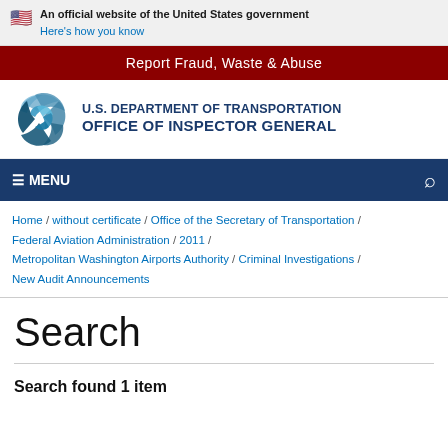An official website of the United States government Here's how you know
Report Fraud, Waste & Abuse
[Figure (logo): U.S. Department of Transportation Office of Inspector General logo with circular swoosh graphic]
≡ MENU
Home / without certificate / Office of the Secretary of Transportation / Federal Aviation Administration / 2011 / Metropolitan Washington Airports Authority / Criminal Investigations / New Audit Announcements
Search
Search found 1 item